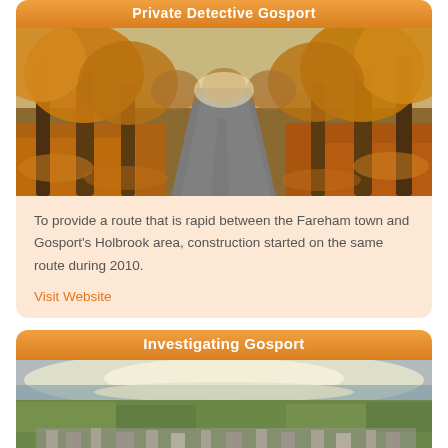Private Detective Gosport
[Figure (photo): Autumn road lined with trees with orange/golden leaves, perspective view down a straight lane]
To provide a route that is rapid between the Fareham town and Gosport's Holbrook area, construction started on the same route during 2010.
Visit Website
Investigating Gosport
[Figure (photo): Aerial view of a green coastal town with fields and urban areas, bright light on the horizon]